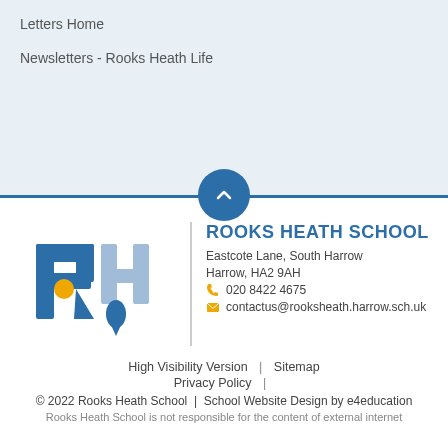Letters Home
Newsletters - Rooks Heath Life
[Figure (logo): Rooks Heath School logo with blue R and H letters, yellow circle, blue teardrop shape]
ROOKS HEATH SCHOOL
Eastcote Lane, South Harrow
Harrow, HA2 9AH
020 8422 4675
contactus@rooksheath.harrow.sch.uk
High Visibility Version | Sitemap
Privacy Policy
© 2022 Rooks Heath School | School Website Design by e4education
Rooks Heath School is not responsible for the content of external internet